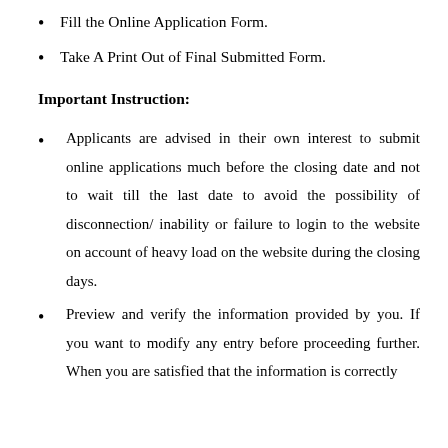Fill the Online Application Form.
Take A Print Out of Final Submitted Form.
Important Instruction:
Applicants are advised in their own interest to submit online applications much before the closing date and not to wait till the last date to avoid the possibility of disconnection/ inability or failure to login to the website on account of heavy load on the website during the closing days.
Preview and verify the information provided by you. If you want to modify any entry before proceeding further. When you are satisfied that the information is correctly